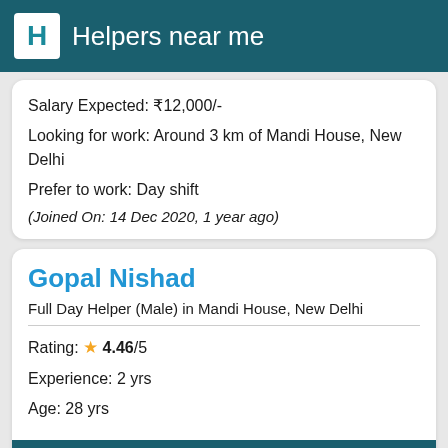Helpers near me
Salary Expected: ₹12,000/-
Looking for work: Around 3 km of Mandi House, New Delhi
Prefer to work: Day shift
(Joined On: 14 Dec 2020, 1 year ago)
Gopal Nishad
Full Day Helper (Male) in Mandi House, New Delhi
Rating: ★ 4.46/5
Experience: 2 yrs
Age: 28 yrs
Find & Hire now →
Marital Status: Single